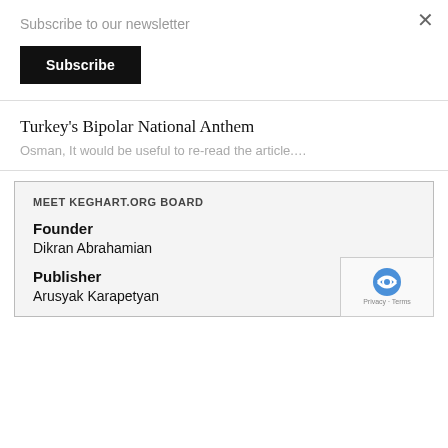Subscribe to our newsletter
Subscribe
Turkey's Bipolar National Anthem
Osman, It would be useful to re-read the article….
MEET KEGHART.ORG BOARD
Founder
Dikran Abrahamian
Publisher
Arusyak Karapetyan